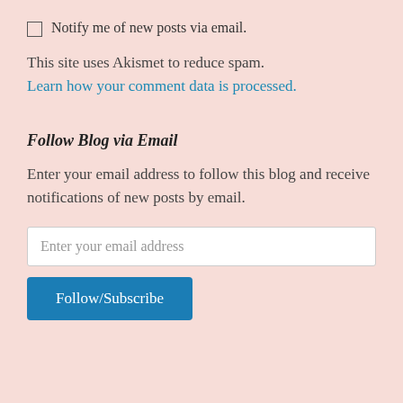Notify me of new posts via email.
This site uses Akismet to reduce spam. Learn how your comment data is processed.
Follow Blog via Email
Enter your email address to follow this blog and receive notifications of new posts by email.
Enter your email address
Follow/Subscribe